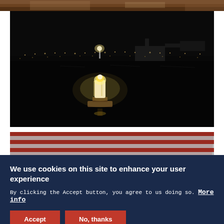[Figure (photo): Partial top edge of a photo showing a wooden table or desk surface with papers in warm tones]
[Figure (photo): Night-time outdoor ceremony photo showing a glowing candle lantern in the foreground on a dark reflective surface, with rows of small lights and a memorial or monument structure in the distant background]
[Figure (photo): Partial view of an American flag with red and white stripes, slightly out of focus]
We use cookies on this site to enhance your user experience
By clicking the Accept button, you agree to us doing so. More info
Accept
No, thanks